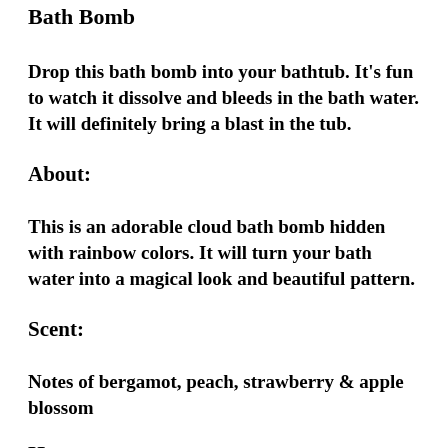Bath Bomb
Drop this bath bomb into your bathtub. It's fun to watch it dissolve and bleeds in the bath water. It will definitely bring a blast in the tub.
About:
This is an adorable cloud bath bomb hidden with rainbow colors. It will turn your bath water into a magical look and beautiful pattern.
Scent:
Notes of bergamot, peach, strawberry & apple blossom
How to use: